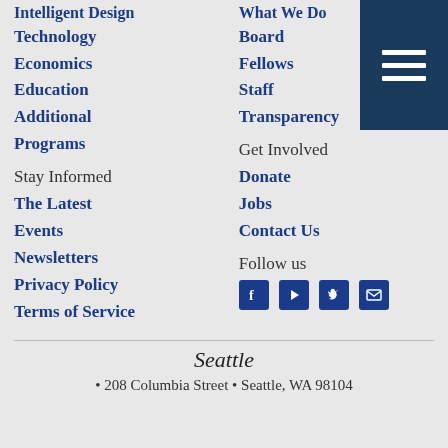Intelligent Design
What We Do
Technology
Board
Economics
Fellows
Education
Staff
Additional
Transparency
Programs
Stay Informed
Get Involved
The Latest
Donate
Events
Jobs
Newsletters
Contact Us
Privacy Policy
Follow us
Terms of Service
[Figure (infographic): Social media icons: Facebook, YouTube, Twitter, Email]
Seattle
• 208 Columbia Street • Seattle, WA 98104